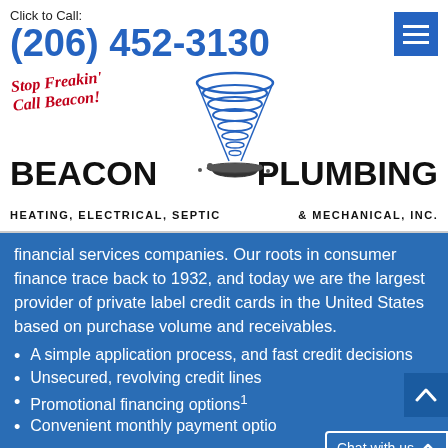Click to Call: (206) 452-3130
[Figure (logo): Beacon Plumbing logo with tornado/whirlwind graphic, slogan 'Stop Freakin' Call Beacon!' in red italic script, and company name 'BEACON PLUMBING HEATING, ELECTRICAL, SEPTIC & MECHANICAL, INC.' in bold black]
financial services companies. Our roots in consumer finance trace back to 1932, and today we are the largest provider of private label credit cards in the United States based on purchase volume and receivables.
A simple application process, and fast credit decisions
Unsecured, revolving credit lines
Promotional financing options¹
Convenient monthly payment optio…